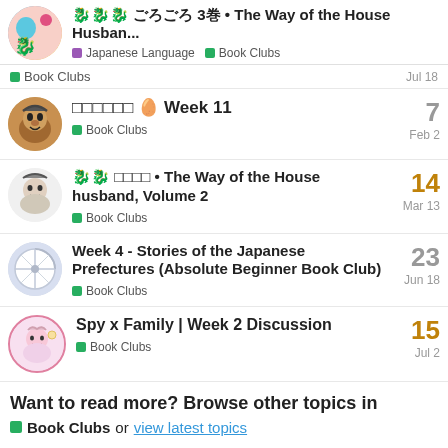🐉🐉🐉 ごろごろ 3巻 • The Way of the House Husban... | Japanese Language | Book Clubs
Book Clubs — Jul 18
ごろごろごろ 🥚 Week 11 — Book Clubs — Feb 2 — 7 replies
🐉🐉 ごろごろ • The Way of the House husband, Volume 2 — Book Clubs — Mar 13 — 14 replies
Week 4 - Stories of the Japanese Prefectures (Absolute Beginner Book Club) — Book Clubs — Jun 18 — 23 replies
Spy x Family | Week 2 Discussion — Book Clubs — Jul 2 — 15 replies
Want to read more? Browse other topics in
■ Book Clubs or view latest topics